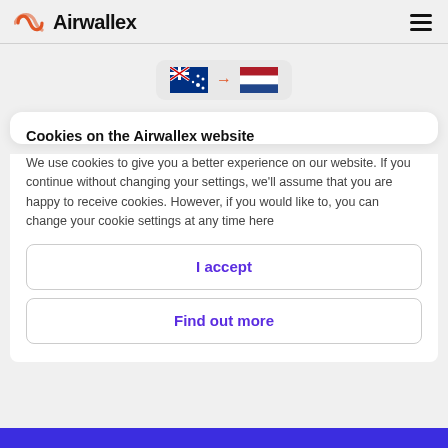Airwallex
[Figure (illustration): Australian flag and Netherlands flag with arrow between them, showing currency conversion direction]
Cookies on the Airwallex website
We use cookies to give you a better experience on our website. If you continue without changing your settings, we'll assume that you are happy to receive cookies. However, if you would like to, you can change your cookie settings at any time here
I accept
Find out more